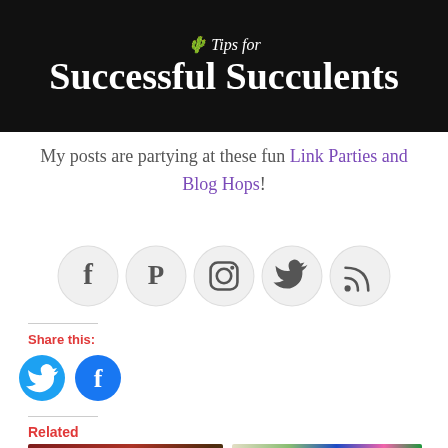[Figure (illustration): Black banner with white bold text 'Successful Succulents' and italic subtitle above it]
My posts are partying at these fun Link Parties and Blog Hops!
[Figure (infographic): Five social media icons in grey circles: Facebook, Pinterest, Instagram, Twitter, RSS]
Share this:
[Figure (infographic): Two round share buttons: Twitter (blue) and Facebook (blue)]
Related
[Figure (photo): Left: photo with turkey/pumpkin on red leaf plate; Right: collage of colorful photos]
Privacy & Cookies Policy